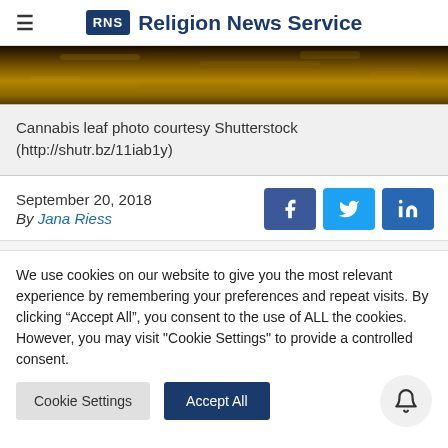RNS Religion News Service
[Figure (photo): Cannabis leaf photo — golden/dark textured background]
Cannabis leaf photo courtesy Shutterstock (http://shutr.bz/11iab1y)
September 20, 2018
By Jana Riess
We use cookies on our website to give you the most relevant experience by remembering your preferences and repeat visits. By clicking "Accept All", you consent to the use of ALL the cookies. However, you may visit "Cookie Settings" to provide a controlled consent.
Cookie Settings   Accept All